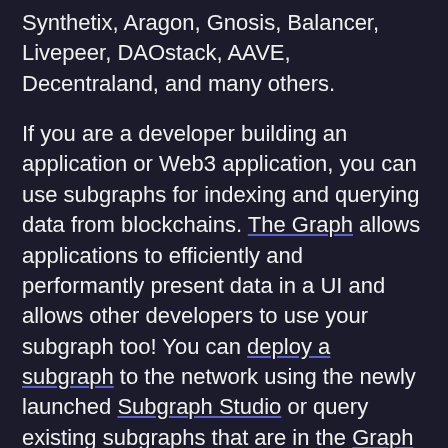Synthetix, Aragon, Gnosis, Balancer, Livepeer, DAOstack, AAVE, Decentraland, and many others.
If you are a developer building an application or Web3 application, you can use subgraphs for indexing and querying data from blockchains. The Graph allows applications to efficiently and performantly present data in a UI and allows other developers to use your subgraph too! You can deploy a subgraph to the network using the newly launched Subgraph Studio or query existing subgraphs that are in the Graph Explorer. The Graph would love to welcome you to be Indexers, Curators and/or Delegators on The Graph's mainnet. Join The Graph community by introducing yourself in The Graph Discord for technical discussions, join The Graph's Telegram chat, or follow The Graph on Twitter! The Graph's developers and members of the community are always eager to chat with you, and The Graph